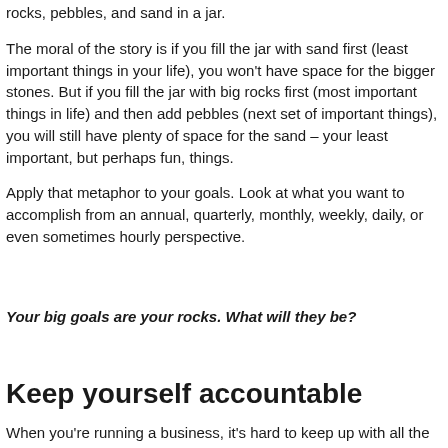rocks, pebbles, and sand in a jar.
The moral of the story is if you fill the jar with sand first (least important things in your life), you won't have space for the bigger stones. But if you fill the jar with big rocks first (most important things in life) and then add pebbles (next set of important things), you will still have plenty of space for the sand – your least important, but perhaps fun, things.
Apply that metaphor to your goals. Look at what you want to accomplish from an annual, quarterly, monthly, weekly, daily, or even sometimes hourly perspective.
Your big goals are your rocks. What will they be?
Keep yourself accountable
When you're running a business, it's hard to keep up with all the